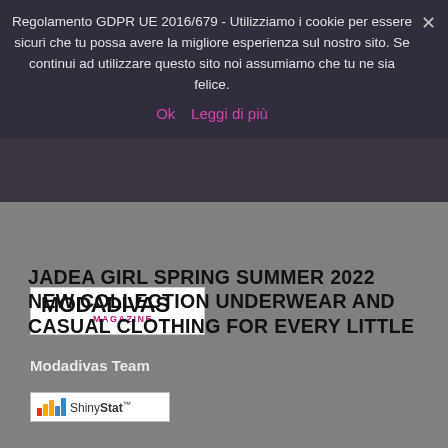Regolamento GDPR UE 2016/679 - Utilizziamo i cookie per essere sicuri che tu possa avere la migliore esperienza sul nostro sito. Se continui ad utilizzare questo sito noi assumiamo che tu ne sia felice.
Ok   Leggi di più
[Figure (logo): MODADIVAS MAGAZINE logo in black and pink on white background]
Modadivas Team
[Figure (logo): ShinyStats analytics badge with colored bar chart icon and ShinyStatTM text]
JADEA GIRL SPRING SUMMER 2022 NEW COLLECTION UNDERWEAR AND CASUAL CLOTHING FOR EVERY LITTLE